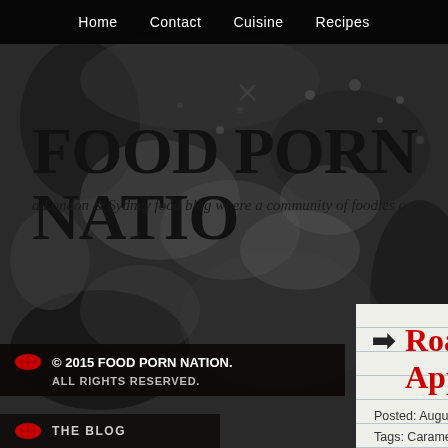Home  Contact  Cuisine  Recipes
FOOD PORN NATIO
a London & Sydney food blog where a community of foodies c
[Figure (screenshot): Grunge black and white textured background with dark blotches and spatter marks]
→ Roast Apple
Posted: Augus
Tags: Carame
Sydney Food
© 2015 FOOD PORN NATION. ALL RIGHTS RESERVED.
THE BLOG